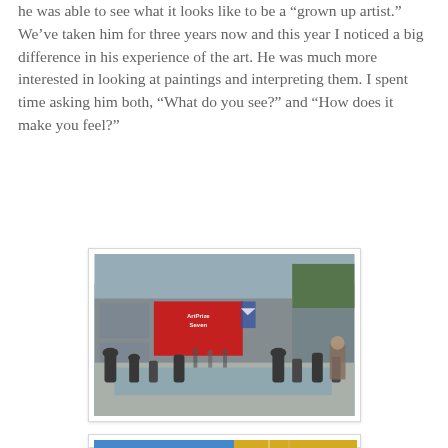he was able to see what it looks like to be a "grown up artist." We've taken him for three years now and this year I noticed a big difference in his experience of the art. He was much more interested in looking at paintings and interpreting them. I spent time asking him both, "What do you see?" and "How does it make you feel?"
[Figure (photo): Outdoor plaza scene at ArtPrize Seven event. A large building with a red banner reading 'ArtPrize Seven' is visible. People are gathered around a fountain area with sculptures and chess pieces in the foreground.]
[Figure (photo): Close-up of a large mural painting showing a sleeping figure with blue swirling hair. A young girl with red/auburn hair is viewing the artwork, seen from behind in profile.]